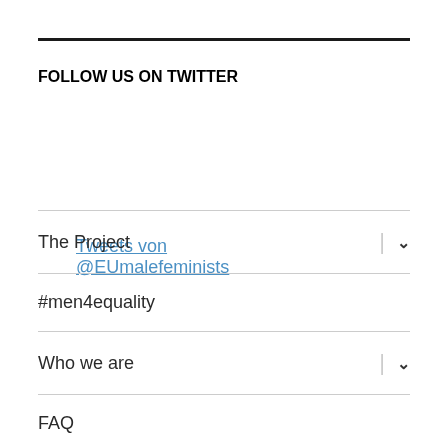FOLLOW US ON TWITTER
Tweets von @EUmalefeminists
The Project
#men4equality
Who we are
FAQ
Links